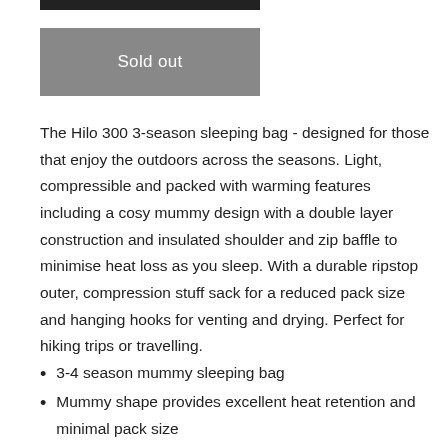Sold out
The Hilo 300 3-season sleeping bag - designed for those that enjoy the outdoors across the seasons. Light, compressible and packed with warming features including a cosy mummy design with a double layer construction and insulated shoulder and zip baffle to minimise heat loss as you sleep. With a durable ripstop outer, compression stuff sack for a reduced pack size and hanging hooks for venting and drying. Perfect for hiking trips or travelling.
3-4 season mummy sleeping bag
Mummy shape provides excellent heat retention and minimal pack size